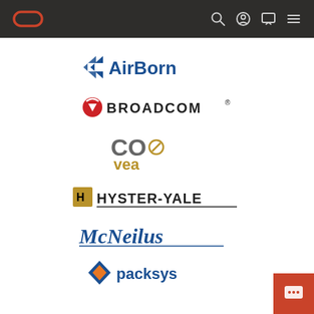Oracle navigation bar with logo and icons
[Figure (logo): AirBorn logo with angular arrow graphic and blue/black text]
[Figure (logo): Broadcom logo with red circle icon and uppercase text]
[Figure (logo): Covea logo with grey CO and gold vea text and circle graphic]
[Figure (logo): Hyster-Yale logo with gold/black H icon and dark text with underline]
[Figure (logo): McNeilus logo in italic blue text with underline]
[Figure (logo): packsys logo with diamond icon in blue/orange and blue text]